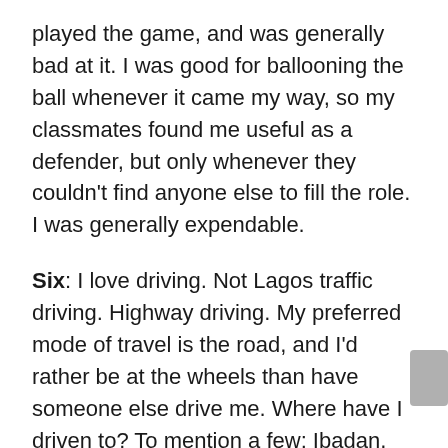played the game, and was generally bad at it. I was good for ballooning the ball whenever it came my way, so my classmates found me useful as a defender, but only whenever they couldn't find anyone else to fill the role. I was generally expendable.
Six: I love driving. Not Lagos traffic driving. Highway driving. My preferred mode of travel is the road, and I'd rather be at the wheels than have someone else drive me. Where have I driven to? To mention a few: Ibadan, Abeokuta, Ilesa, Akure, Ado-Ekiti, Abuja, Kaduna, and Zaria. There are many towns between Lagos and those cities that I have visited. My best stretch of road includes the hilly twists and turns between Ikogosi and Ipole-Iloro in Ekiti State. Dreamy.